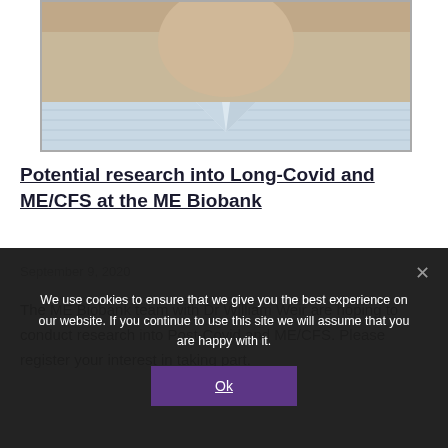[Figure (photo): Cropped photo of a man (Dr William Weir), showing face and upper chest, wearing a light blue checked shirt. Image is partially cut off at the top.]
Potential research into Long-Covid and ME/CFS at the ME Biobank
September 9, 2020
The ME Biobank team with Dr William Weir are hoping to conduct research into Post-Covid and ME/CFS. Please register your interest in taking part.
We use cookies to ensure that we give you the best experience on our website. If you continue to use this site we will assume that you are happy with it.